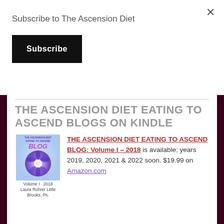Subscribe to The Ascension Diet
Subscribe
THE ASCENSION DIET EATING TO ASCEND BLOGS ON KINDLE
[Figure (illustration): Book cover image for The Ascension Diet Eating to Ascend Blog Volume I - 2018, showing a purple/blue flower-like orb on a light blue background, with text: THE ASCENSION DIET EATING TO ASCEND BLOG, Volume 1 - 2018, Laura Rohrer Little Brooks, Ps.]
THE ASCENSION DIET EATING TO ASCEND BLOG: Volume I – 2018 is available; years 2019, 2020, 2021 & 2022 soon. $19.99 on Amazon.com